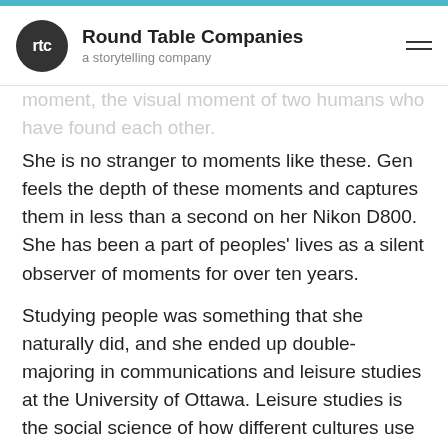Round Table Companies — a storytelling company
moment, the visual moment of two humans who have found each other.
She is no stranger to moments like these. Gen feels the depth of these moments and captures them in less than a second on her Nikon D800. She has been a part of peoples' lives as a silent observer of moments for over ten years.
Studying people was something that she naturally did, and she ended up double-majoring in communications and leisure studies at the University of Ottawa. Leisure studies is the social science of how different cultures use their time. It's a psychological/social look at how the world views that work-life balance.